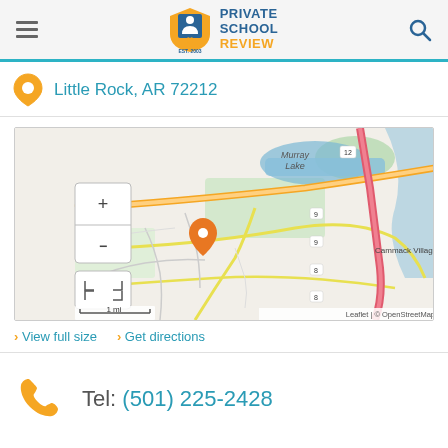[Figure (logo): Private School Review logo with shield icon, EST. 2003]
Little Rock, AR 72212
[Figure (map): Interactive street map showing location near Murray Lake and Cammack Village area in Little Rock, AR. Orange map pin marker visible. Map includes zoom controls (+/-), fullscreen button, scale (1 mi), Leaflet | © OpenStreetMap attribution.]
> View full size  > Get directions
Tel: (501) 225-2428